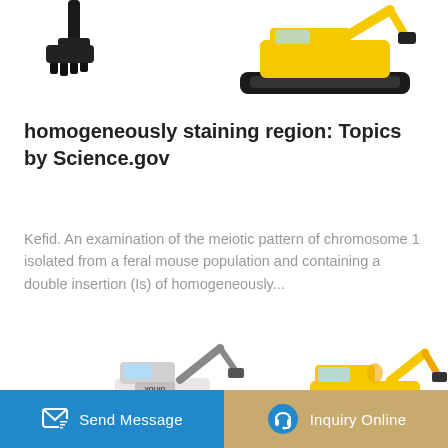[Figure (photo): Two excavator/construction machine images shown partially at the top of the page — a bucket/attachment on the left and a crawler excavator on the right]
homogeneously staining region: Topics by Science.gov
Kefid. An examination of the meiotic pattern of chromosome 1 isolated from a feral mouse population and containing a double insertion (Is) of homogeneously...
[Figure (other): Blue 'Learn More' button]
[Figure (photo): Two excavator/construction machine images at the bottom — a Volvo mini excavator on the left and a yellow excavator on the right]
[Figure (other): Bottom navigation bar with 'Send Message' button (blue, with message icon) and 'Inquiry Online' button (tan/gold, with headset icon)]